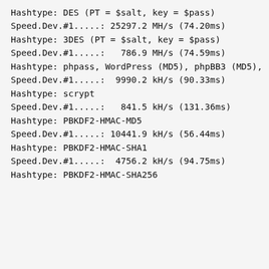Hashtype: DES (PT = $salt, key = $pass)
Speed.Dev.#1.....: 25297.2 MH/s (74.20ms)
Hashtype: 3DES (PT = $salt, key = $pass)
Speed.Dev.#1.....:   786.9 MH/s (74.59ms)
Hashtype: phpass, WordPress (MD5), phpBB3 (MD5),
Speed.Dev.#1.....:  9990.2 kH/s (90.33ms)
Hashtype: scrypt
Speed.Dev.#1.....:   841.5 kH/s (131.36ms)
Hashtype: PBKDF2-HMAC-MD5
Speed.Dev.#1.....: 10441.9 kH/s (56.44ms)
Hashtype: PBKDF2-HMAC-SHA1
Speed.Dev.#1.....:  4756.2 kH/s (94.75ms)
Hashtype: PBKDF2-HMAC-SHA256